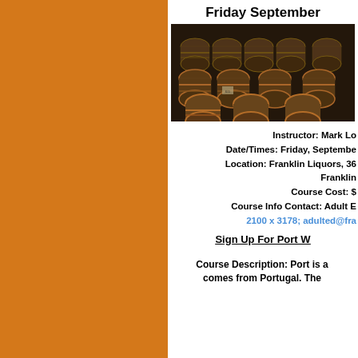Friday September
[Figure (photo): Rows of wine barrels stacked in a wine cellar/warehouse, photographed in a dark atmospheric setting]
Instructor: Mark Lo
Date/Times: Friday, Septembe
Location: Franklin Liquors, 36
Franklin
Course Cost: $
Course Info Contact: Adult E
2100 x 3178; adulted@fra
Sign Up For Port W
Course Description: Port is a comes from Portugal. The